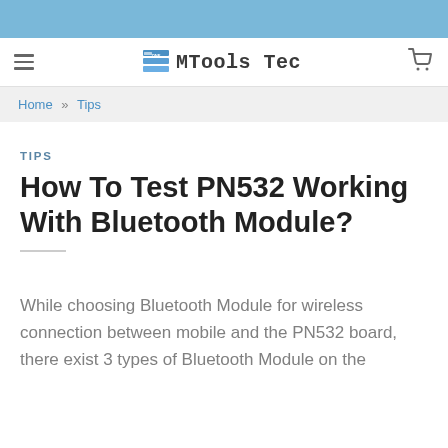MTools Tec
Home » Tips
TIPS
How To Test PN532 Working With Bluetooth Module?
While choosing Bluetooth Module for wireless connection between mobile and the PN532 board, there exist 3 types of Bluetooth Module on the